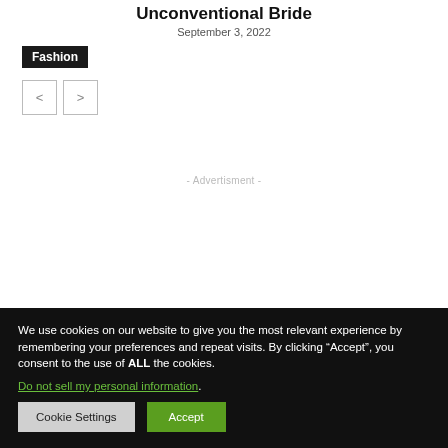Unconventional Bride
September 3, 2022
Fashion
- Advertisment -
We use cookies on our website to give you the most relevant experience by remembering your preferences and repeat visits. By clicking “Accept”, you consent to the use of ALL the cookies.
Do not sell my personal information.
Cookie Settings
Accept